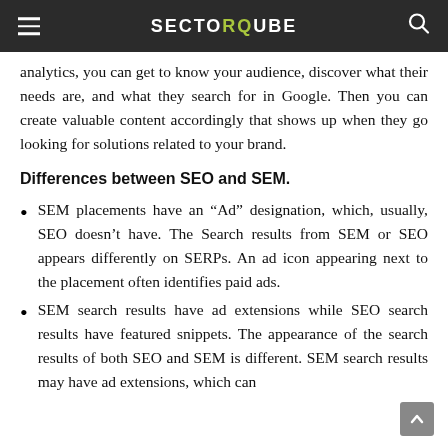SECTORQUBE
analytics, you can get to know your audience, discover what their needs are, and what they search for in Google. Then you can create valuable content accordingly that shows up when they go looking for solutions related to your brand.
Differences between SEO and SEM.
SEM placements have an “Ad” designation, which, usually, SEO doesn’t have. The Search results from SEM or SEO appears differently on SERPs. An ad icon appearing next to the placement often identifies paid ads.
SEM search results have ad extensions while SEO search results have featured snippets. The appearance of the search results of both SEO and SEM is different. SEM search results may have ad extensions, which can